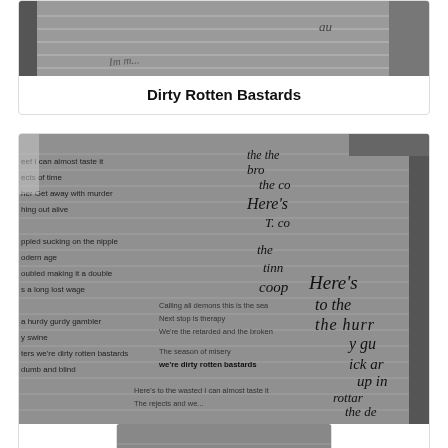[Figure (photo): Black and white photo of handwritten song lyrics on lined paper, partially visible, top portion cropped]
Dirty Rotten Bastards
[Figure (photo): Black and white photo of handwritten song lyrics on paper for 'Dirty Rotten Bastards', with visible text including 'Calling all demons this is the season', 'Next stop is therapy', 'We're the retarded and the broken man', 'The season of misery', 'we're dirty rotten bastards', 'Here's to the wasted I can almost taste it', 'The rejects and...' and handwritten annotations]
Dirty Rotten Bastards
[Figure (photo): Black and white photo of handwritten lyrics, partially visible, bottom portion of page, showing 'the broken retarded' and other text]